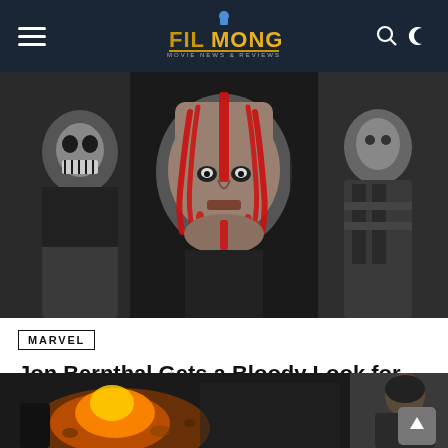Filmonger
[Figure (photo): Collage of Jon Bernthal as the Punisher: left panel black-and-white, center panel with red war-paint streaks on face, right panel black-and-white with tactical gear]
MARVEL
Jon Bernthal Gets a Bloody Look for His Marvel Studios Debut
[Figure (photo): Bottom strip showing a fiery explosion scene on the left and a person from behind on the right]